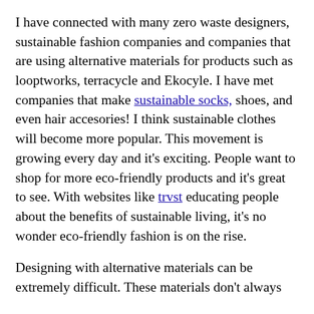I have connected with many zero waste designers, sustainable fashion companies and companies that are using alternative materials for products such as looptworks, terracycle and Ekocyle. I have met companies that make sustainable socks, shoes, and even hair accesories! I think sustainable clothes will become more popular. This movement is growing every day and it's exciting. People want to shop for more eco-friendly products and it's great to see. With websites like trvst educating people about the benefits of sustainable living, it's no wonder eco-friendly fashion is on the rise.
Designing with alternative materials can be extremely difficult. These materials don't always